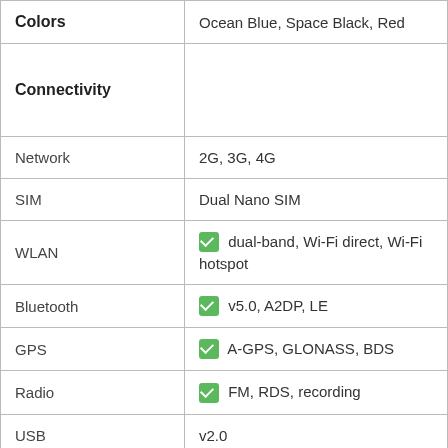| Feature | Value |
| --- | --- |
| Colors | Ocean Blue, Space Black, Red |
| Connectivity |  |
| Network | 2G, 3G, 4G |
| SIM | Dual Nano SIM |
| WLAN | ✅ dual-band, Wi-Fi direct, Wi-Fi hotspot |
| Bluetooth | ✅ v5.0, A2DP, LE |
| GPS | ✅ A-GPS, GLONASS, BDS |
| Radio | ✅ FM, RDS, recording |
| USB | v2.0 |